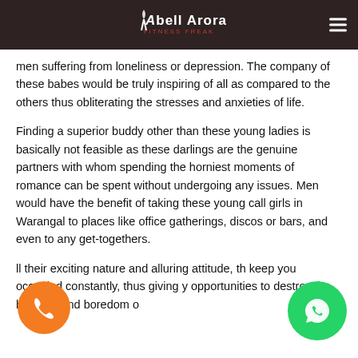Abell Arora Fitness Freak
men suffering from loneliness or depression. The company of these babes would be truly inspiring of all as compared to the others thus obliterating the stresses and anxieties of life.
Finding a superior buddy other than these young ladies is basically not feasible as these darlings are the genuine partners with whom spending the horniest moments of romance can be spent without undergoing any issues. Men would have the benefit of taking these young call girls in Warangal to places like office gatherings, discos or bars, and even to any get-togethers.
ll their exciting nature and alluring attitude, th keep you occupied constantly, thus giving y opportunities to destroy the burdens and boredom o